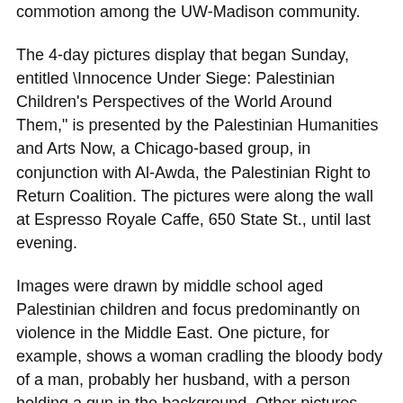commotion among the UW-Madison community.
The 4-day pictures display that began Sunday, entitled \Innocence Under Siege: Palestinian Children's Perspectives of the World Around Them," is presented by the Palestinian Humanities and Arts Now, a Chicago-based group, in conjunction with Al-Awda, the Palestinian Right to Return Coalition. The pictures were along the wall at Espresso Royale Caffe, 650 State St., until last evening.
Images were drawn by middle school aged Palestinian children and focus predominantly on violence in the Middle East. One picture, for example, shows a woman cradling the bloody body of a man, probably her husband, with a person holding a gun in the background. Other pictures show Israeli tanks and Palestinian towns and children surrendering.
"Our organization put the pictures up because